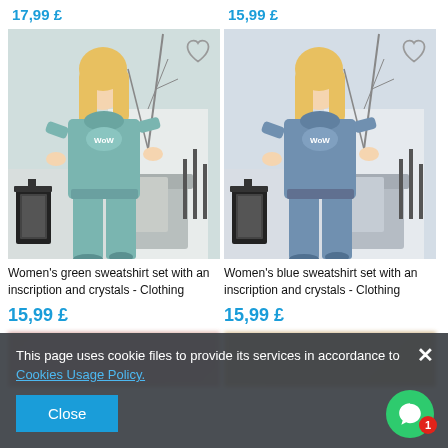17,99 £
15,99 £
[Figure (photo): Woman wearing a teal/green velour sweatshirt tracksuit set with inscription and crystals, posed in a styled studio setting with lantern and decorative branches]
[Figure (photo): Woman wearing a blue velour sweatshirt tracksuit set with inscription and crystals, posed in a styled studio setting with lantern and decorative branches]
Women's green sweatshirt set with an inscription and crystals - Clothing
Women's blue sweatshirt set with an inscription and crystals - Clothing
15,99 £
15,99 £
This page uses cookie files to provide its services in accordance to Cookies Usage Policy.
Close